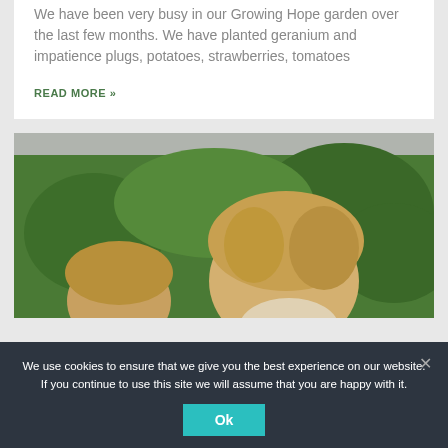We have been very busy in our Growing Hope garden over the last few months. We have planted geranium and impatience plugs, potatoes, strawberries, tomatoes
READ MORE »
[Figure (photo): Two children with blonde hair looking down, with green leafy hedge/shrubs in the background. Outdoor garden scene.]
We use cookies to ensure that we give you the best experience on our website. If you continue to use this site we will assume that you are happy with it.